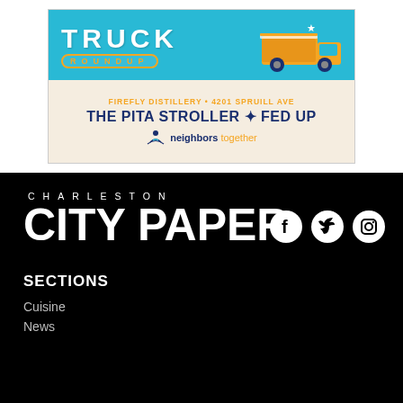[Figure (illustration): Food Truck Roundup advertisement. Top section cyan/teal background with 'TRUCK ROUNDUP' text and food truck graphic. Beige background section shows 'FIREFLY DISTILLERY • 4201 SPRUILL AVE', 'THE PITA STROLLER • FED UP', and 'neighbors together' logo.]
[Figure (logo): Charleston City Paper logo: 'CHARLESTON' in small spaced letters above large bold 'CITY PAPER' text, white on black background, with Facebook, Twitter, and Instagram social media icons to the right.]
SECTIONS
Cuisine
News